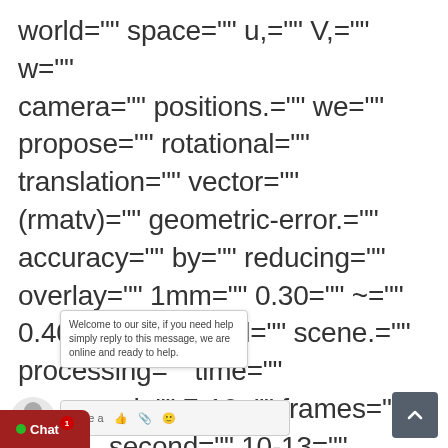world="" space="" u,="" V,="" w="" camera="" positions.="" we="" propose="" rotational="" translation="" vector="" (rmatv)="" geometric-error.="" accuracy="" by="" reducing="" overlay="" 1mm="" 0.30="" ~="" 0.40="" mm="" real="" scene.="" processing="" time="" ed="" 7-10="" frames="" second="" 10-13="" .="" icp="" history:="" originally="" introduced="" chen="" medioni="" 1991.="" however,=""
Welcome to our site, if you need help simply reply to this message, we are online and ready to help.
Write a
Chat